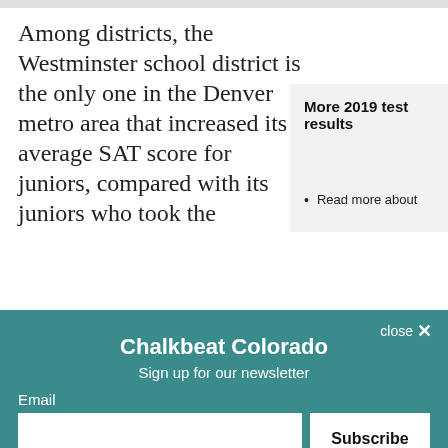Among districts, the Westminster school district is the only one in the Denver metro area that increased its average SAT score for juniors, compared with its juniors who took the test last year.
More 2019 test results
Read more about statewide results
Read more about individual results
The state began requiring Colorado all students Chalkbeat
Chalkbeat Colorado
Sign up for our newsletter
Email
Subscribe
By signing up, you agree to our Privacy Notice and European users agree to the data transfer policy.